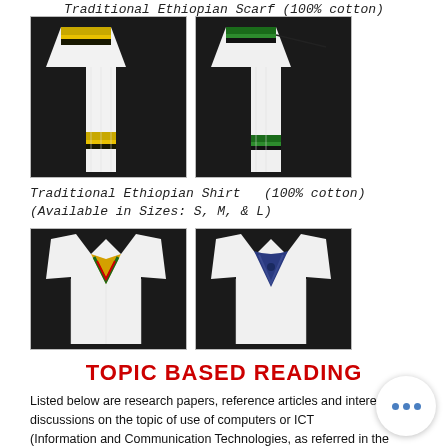Traditional Ethiopian Scarf (100% cotton)
[Figure (photo): Two photos of a traditional Ethiopian scarf (100% cotton): left photo shows white scarf with yellow/gold stripe on dark background; right photo shows white scarf with green stripe on dark background.]
Traditional Ethiopian Shirt  (100% cotton)
(Available in Sizes: S, M, & L)
[Figure (photo): Two photos of a traditional Ethiopian shirt (100% cotton): left photo shows white shirt with yellow/green/red V-neck collar decoration; right photo shows white shirt with blue/navy V-neck collar decoration.]
TOPIC BASED READING
Listed below are research papers, reference articles and interesting discussions on the topic of use of computers or ICT
(Information and Communication Technologies, as referred in the below articles).